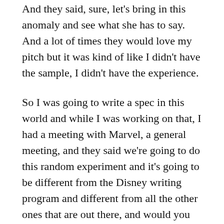And they said, sure, let's bring in this anomaly and see what she has to say. And a lot of times they would love my pitch but it was kind of like I didn't have the sample, I didn't have the experience.
So I was going to write a spec in this world and while I was working on that, I had a meeting with Marvel, a general meeting, and they said we're going to do this random experiment and it's going to be different from the Disney writing program and different from all the other ones that are out there, and would you like to join it.
John: So when you're in this program, are you showing up to an office everyday and are you